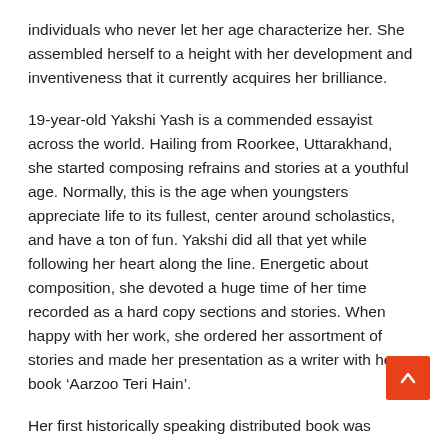individuals who never let her age characterize her. She assembled herself to a height with her development and inventiveness that it currently acquires her brilliance.
19-year-old Yakshi Yash is a commended essayist across the world. Hailing from Roorkee, Uttarakhand, she started composing refrains and stories at a youthful age. Normally, this is the age when youngsters appreciate life to its fullest, center around scholastics, and have a ton of fun. Yakshi did all that yet while following her heart along the line. Energetic about composition, she devoted a huge time of her time recorded as a hard copy sections and stories. When happy with her work, she ordered her assortment of stories and made her presentation as a writer with her book ‘Aarzoo Teri Hain’.
Her first historically speaking distributed book was